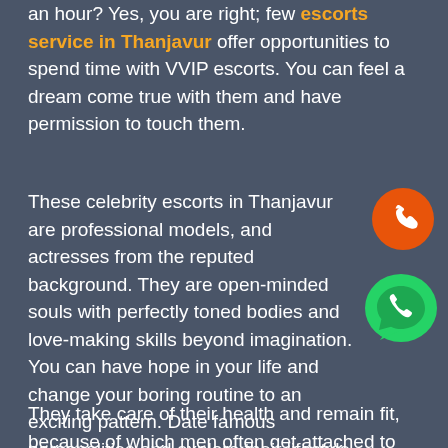an hour? Yes, you are right; few escorts service in Thanjavur offer opportunities to spend time with VVIP escorts. You can feel a dream come true with them and have permission to touch them.
These celebrity escorts in Thanjavur are professional models, and actresses from the reputed background. They are open-minded souls with perfectly toned bodies and love-making skills beyond imagination. You can have hope in your life and change your boring routine to an exciting pattern. Date famous personalities and explore their lifestyle with an escort agency. These call girls are naughty and enusre meeting your desires.
They take care of their health and remain fit, because of which men often get attached to